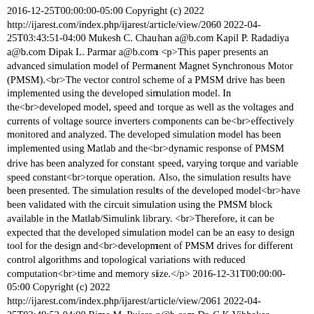2016-12-25T00:00:00-05:00 Copyright (c) 2022 http://ijarest.com/index.php/ijarest/article/view/2060 2022-04-25T03:43:51-04:00 Mukesh C. Chauhan a@b.com Kapil P. Radadiya a@b.com Dipak L. Parmar a@b.com <p>This paper presents an advanced simulation model of Permanent Magnet Synchronous Motor (PMSM).<br>The vector control scheme of a PMSM drive has been implemented using the developed simulation model. In the<br>developed model, speed and torque as well as the voltages and currents of voltage source inverters components can be<br>effectively monitored and analyzed. The developed simulation model has been implemented using Matlab and the<br>dynamic response of PMSM drive has been analyzed for constant speed, varying torque and variable speed constant<br>torque operation. Also, the simulation results have been presented. The simulation results of the developed model<br>have been validated with the circuit simulation using the PMSM block available in the Matlab/Simulink library. <br>Therefore, it can be expected that the developed simulation model can be an easy to design tool for the design and<br>development of PMSM drives for different control algorithms and topological variations with reduced computation<br>time and memory size.</p> 2016-12-31T00:00:00-05:00 Copyright (c) 2022 http://ijarest.com/index.php/ijarest/article/view/2061 2022-04-25T03:49:52-04:00 Rima M. Pujara a@b.com Dr. C.K.Vibhakar a@b.com R.N.Parmar a@b.com